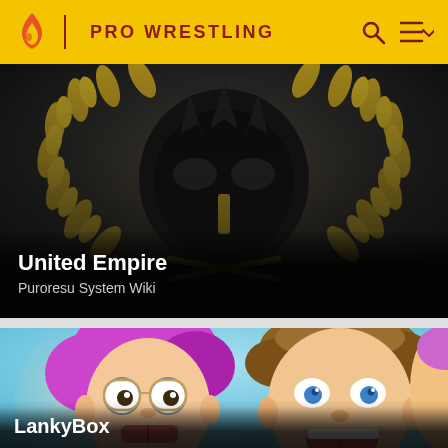PRO WRESTLING
[Figure (photo): Dark background with golden laurel wreath and black crown-like mask logo for United Empire faction]
United Empire
Puroresu System Wiki
[Figure (photo): Two young content creators with blue background - one with purple hair and glasses, one with brown hair and blue eyes, mouths open smiling]
LankyBox